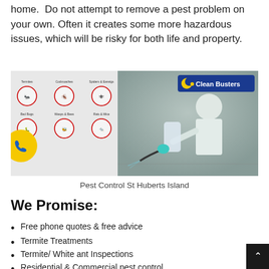home.  Do not attempt to remove a pest problem on your own. Often it creates some more hazardous issues, which will be risky for both life and property.
[Figure (photo): Split image: left side shows a pest control service chart with circular icons for Termites, Cockroaches, Spiders & Earwigs, Bed Bugs, Wasps & Bees, Rats & Mice. Right side shows a person in white protective suit spraying pesticide holding a container. Clean Busters logo badge in top right. Yellow circle with phone icon on left side.]
Pest Control St Huberts Island
We Promise:
Free phone quotes & free advice
Termite Treatments
Termite/ White ant Inspections
Residential & Commercial pest control